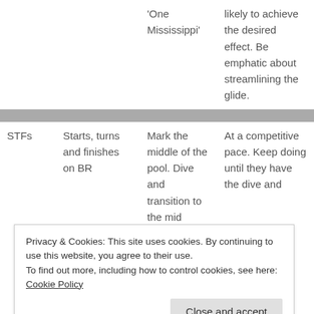|  |  |  |  |
| --- | --- | --- | --- |
|  |  | 'One Mississippi' | likely to achieve the desired effect. Be emphatic about streamlining the glide. |
| STFs | Starts, turns and finishes on BR | Mark the middle of the pool. Dive and transition to the mid point. Transition to the mid- | At a competitive pace. Keep doing until they have the dive and transition and first glide and |
Privacy & Cookies: This site uses cookies. By continuing to use this website, you agree to their use.
To find out more, including how to control cookies, see here: Cookie Policy